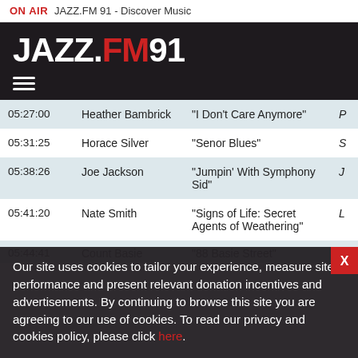ON AIR  JAZZ.FM 91 - Discover Music
[Figure (logo): JAZZ.FM91 logo in white and red on dark background, with hamburger menu icon below]
| Time | Artist | Track |  |
| --- | --- | --- | --- |
| 05:27:00 | Heather Bambrick | “I Don’t Care Anymore” | P |
| 05:31:25 | Horace Silver | “Senor Blues” | S |
| 05:38:26 | Joe Jackson | “Jumpin’ With Symphony Sid” | J |
| 05:41:20 | Nate Smith | “Signs of Life: Secret Agents of Weathering” | L |
| 05:44:41 | Count Basie | “88 Basie Street” |  |
Our site uses cookies to tailor your experience, measure site performance and present relevant donation incentives and advertisements. By continuing to browse this site you are agreeing to our use of cookies. To read our privacy and cookies policy, please click here.